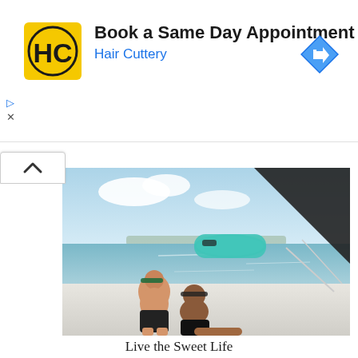[Figure (logo): Hair Cuttery logo: yellow square with black HC letters]
Book a Same Day Appointment
Hair Cuttery
[Figure (illustration): Blue navigation/directions diamond icon with right-turn arrow]
[Figure (photo): Two people relaxing on the deck of a catamaran sailboat on calm turquoise water, with a teal paddleboard visible. Sunny day with clouds.]
Live the Sweet Life